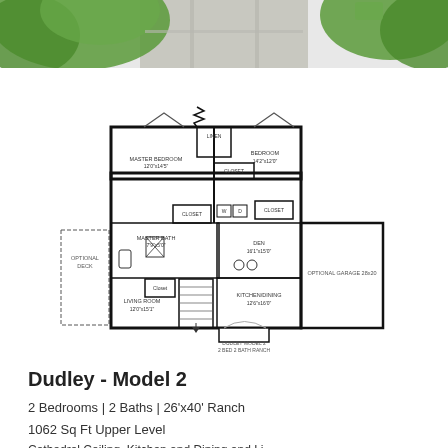[Figure (photo): Aerial/landscape view of property with green trees and driveway, shown at top of page]
[Figure (engineering-diagram): Floor plan for Dudley Model 2 ranch home showing: Master Bedroom (12'0"x14'5"), Bedroom (14'2"x12'0"), Master Bath (7'9"x5'0"), Closet areas, Living Room (12'0"x15'1"), Kitchen/Dining (12'6"x16'0"), Den (16'1"x15'0"), Optional Deck, Optional Garage 28x20, Staircase, W/D area. Label at bottom: DUDLEY MODEL 2, 2 BED 2 BATH RANCH]
Dudley - Model 2
2 Bedrooms | 2 Baths | 26'x40' Ranch
1062 Sq Ft Upper Level
Cathedral Ceiling, Kitchen and Dining and Living...